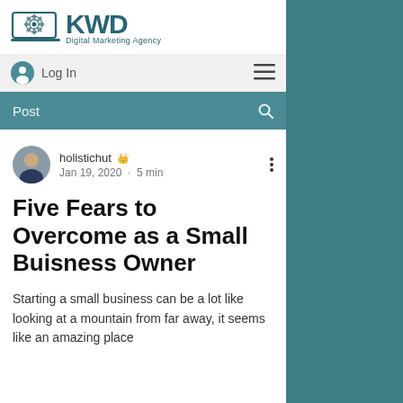[Figure (logo): KWD Digital Marketing Agency logo with teal flower/laptop icon and KWD text]
Log In
Post
holistichut 👑   Jan 19, 2020 · 5 min
Five Fears to Overcome as a Small Buisness Owner
Starting a small business can be a lot like looking at a mountain from far away, it seems like an amazing place